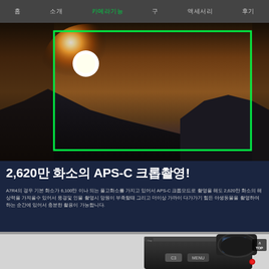홈 소개 카메라기능 구 액세서리 후기
[Figure (photo): Sunset over mountain silhouettes with green APS-C crop rectangle overlay on camera viewfinder display]
2,620만 화소의 APS-C 크롭촬영!
A7R4의 경우 기본 화소가 6,100만 이나 되는 풀고화소를 가지고 있어서 APS-C 크롭모드로 촬영을 해도 2,620만 화소의 해상력을 가져올수 있어서 풍경및 인물 촬영시 망원이 부족할때 그리고 더이상 가까이 다가가기 힘든 야생동물을 촬영하여 하는 순간에 있어서 충분한 활용이 가능합니다.
[Figure (photo): Sony Alpha camera body top view showing C3 button, MENU button, viewfinder eyecup, and TOP navigation button]